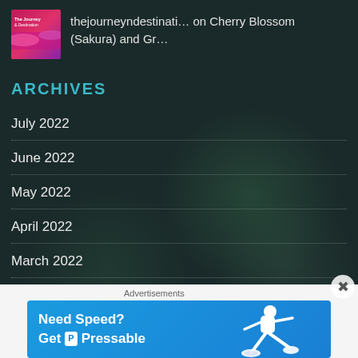[Figure (other): Blog thumbnail logo showing 'The Journey & Destination' with pink/purple gradient and 'The Journey & Destination' text]
thejourneyndestinati… on Cherry Blossom (Sakura) and Gr…
ARCHIVES
July 2022
June 2022
May 2022
April 2022
March 2022
February 2022
Advertisements
[Figure (other): Advertisement banner: Need Speed? Get Pressable (blue background with running man illustration)]